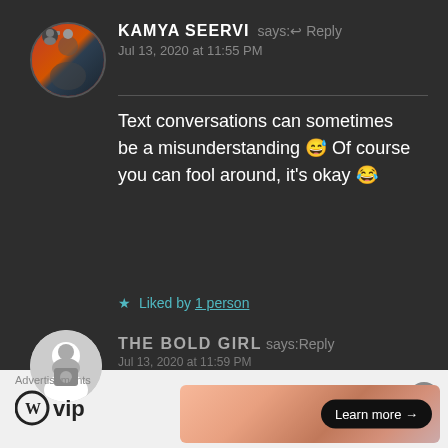KAMYA SEERVI says: ↩ Reply
Jul 13, 2020 at 11:55 PM
Text conversations can sometimes be a misunderstanding 😅 Of course you can fool around, it's okay 😂
★ Liked by 1 person
THE BOLD GIRL says: Reply
Jul 13, 2020 at 11:59 PM
Advertisements
[Figure (logo): WordPress VIP logo with circle W icon]
[Figure (infographic): Learn more button on gradient orange/pink background]